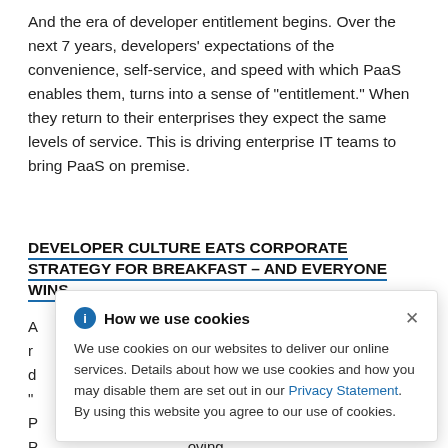And the era of developer entitlement begins. Over the next 7 years, developers' expectations of the convenience, self-service, and speed with which PaaS enables them, turns into a sense of "entitlement." When they return to their enterprises they expect the same levels of service. This is driving enterprise IT teams to bring PaaS on premise.
DEVELOPER CULTURE EATS CORPORATE STRATEGY FOR BREAKFAST – AND EVERYONE WINS
A ... % of CIOs re ... anning on d ... ce said, "... the year that P ... st 50% of it). P ... oving Corporate Strategy to a new level of innovation and agility.
[Figure (screenshot): Cookie consent modal dialog overlay. Header: 'How we use cookies' with an info icon and close (×) button. Body text: 'We use cookies on our websites to deliver our online services. Details about how we use cookies and how you may disable them are set out in our Privacy Statement. By using this website you agree to our use of cookies.']